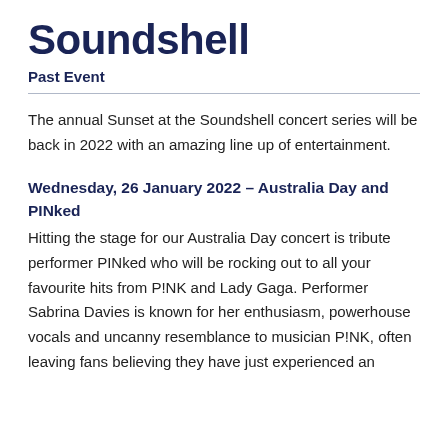Soundshell
Past Event
The annual Sunset at the Soundshell concert series will be back in 2022 with an amazing line up of entertainment.
Wednesday, 26 January 2022 – Australia Day and PINked
Hitting the stage for our Australia Day concert is tribute performer PINked who will be rocking out to all your favourite hits from P!NK and Lady Gaga. Performer Sabrina Davies is known for her enthusiasm, powerhouse vocals and uncanny resemblance to musician P!NK, often leaving fans believing they have just experienced an